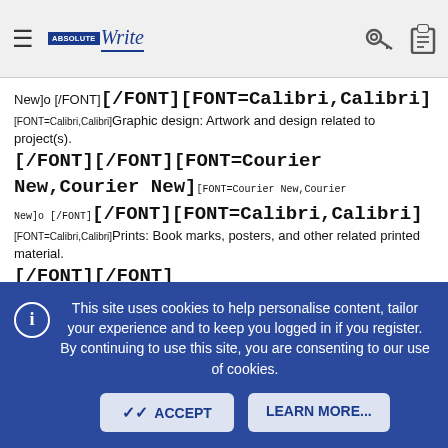AbsoluteWrite logo with hamburger menu and icons
New]o [/FONT][/FONT][FONT=Calibri,Calibri][FONT=Calibri,Calibri]Graphic design: Artwork and design related to project(s). [/FONT][/FONT][FONT=Courier New,Courier New][FONT=Courier New,Courier New]o [/FONT][/FONT][FONT=Calibri,Calibri][FONT=Calibri,Calibri]Prints: Book marks, posters, and other related printed material. [/FONT][/FONT][FONT=Wingdings,Wingdings][FONT=Wingdings,Wingdings]■[/FONT][/FONT][FONT=Calibri,Calibri][FONT=Calibri,Calibri]Accounting: [/FONT][/FONT][FONT=Courier New,Courier New][FONT=Courier New,Courier New]o [/FONT][/FONT][FONT=Calibri,Calibri][FONT=Calibri,Calibri]Quarterly royalty tracking. [/FONT][/FONT][FONT=Courier New,Courier New][FONT=Courier New,Courier New]o [/FONT][/FONT][FONT=Calibri,Calibri][FONT=Calibri,Calibri]Quarterly reporting: Book sales, royalty tracking, other related reporting.
This site uses cookies to help personalise content, tailor your experience and to keep you logged in if you register. By continuing to use this site, you are consenting to our use of cookies.
ACCEPT
LEARN MORE...